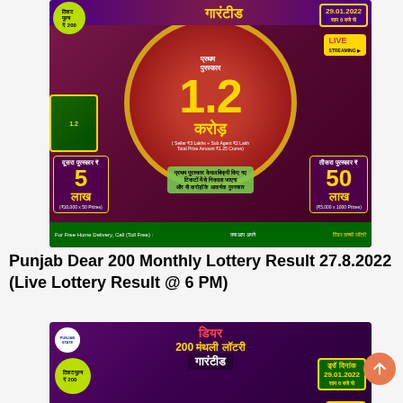[Figure (photo): Punjab Dear 200 Monthly Lottery advertisement banner in Hindi showing 1.2 Crore prize, ticket price Rs 200, date 29.01.2022, 2nd prize 5 Lakh and 3rd prize 50 Lakh, Live Streaming badge]
Punjab Dear 200 Monthly Lottery Result 27.8.2022 (Live Lottery Result @ 6 PM)
[Figure (photo): Second Punjab Dear 200 Monthly Lottery advertisement banner showing डियर 200 मंथली लॉटरी, गारंटीड 1.2 crore prize, ticket price Rs 200, date 29.01.2022, Live Streaming badge]